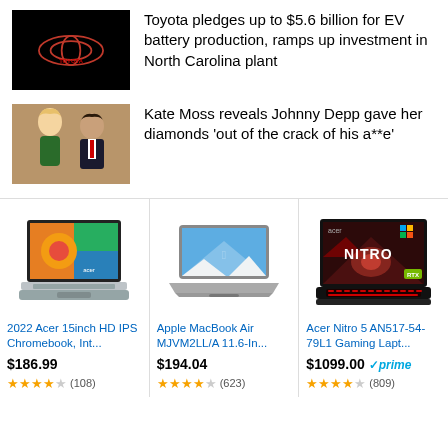[Figure (photo): Toyota logo on dark background]
Toyota pledges up to $5.6 billion for EV battery production, ramps up investment in North Carolina plant
[Figure (photo): Kate Moss and Johnny Depp photo]
Kate Moss reveals Johnny Depp gave her diamonds 'out of the crack of his a**e'
[Figure (photo): 2022 Acer 15inch HD IPS Chromebook laptop product image]
2022 Acer 15inch HD IPS Chromebook, Int...
$186.99
(108)
[Figure (photo): Apple MacBook Air MJVM2LL/A 11.6-In laptop product image]
Apple MacBook Air MJVM2LL/A 11.6-In...
$194.04
(623)
[Figure (photo): Acer Nitro 5 AN517-54-79L1 Gaming Laptop product image]
Acer Nitro 5 AN517-54-79L1 Gaming Lapt...
$1099.00
(809)